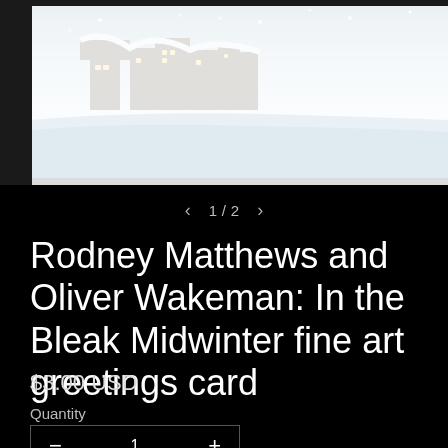[Figure (photo): A fine art greetings card showing a winter snow scene with buildings and warm glowing lights, viewed through a teardrop or spoon-shaped white frame. Part of a two-image carousel (1/2).]
1 / 2
Rodney Matthews and Oliver Wakeman: In the Bleak Midwinter fine art greetings card
$3.00 USD
Quantity